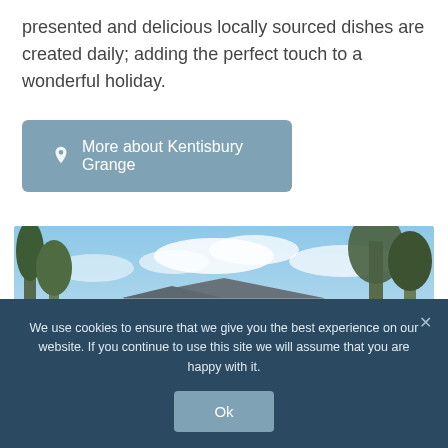presented and delicious locally sourced dishes are created daily; adding the perfect touch to a wonderful holiday.
More about Kentisbury Grange
[Figure (photo): Exterior photo of Kentisbury Grange hotel building surrounded by trees under a partly cloudy blue sky]
We use cookies to ensure that we give you the best experience on our website. If you continue to use this site we will assume that you are happy with it.
Ok